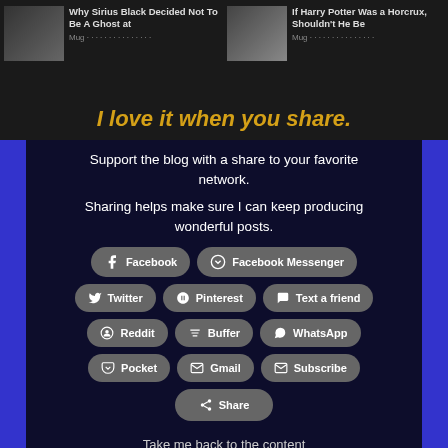[Figure (screenshot): Header bar with two article thumbnails and titles: 'Why Sirius Black Decided Not To Be A Ghost at...' and 'If Harry Potter Was a Horcrux, Shouldn't He Be...']
I love it when you share.
Support the blog with a share to your favorite network.
Sharing helps make sure I can keep producing wonderful posts.
Facebook
Facebook Messenger
Twitter
Pinterest
Text a friend
Reddit
Buffer
WhatsApp
Pocket
Gmail
Subscribe
Share
Take me back to the content